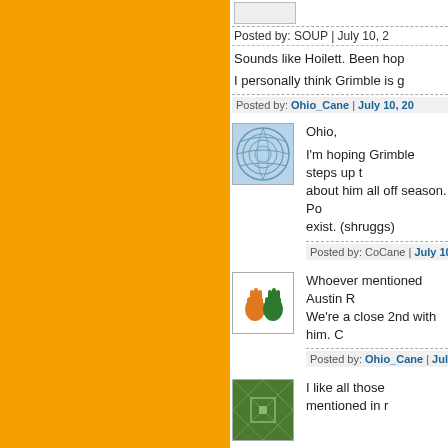Posted by: SOUP | July 10, 2...
Sounds like Hoilett. Been hop...
I personally think Grimble is g...
Posted by: Ohio_Cane | July 10, 20...
[Figure (illustration): Blue geometric sphere/globe avatar icon]
Ohio,
I'm hoping Grimble steps up ... about him all off season. Po... exist. (shruggs)
Posted by: CoCane | July 10, 2013
[Figure (illustration): Miami Hurricanes hands logo avatar - orange and green hands]
Whoever mentioned Austin R... We're a close 2nd with him. C...
Posted by: Ohio_Cane | July 10, 20...
[Figure (illustration): Green geometric pattern avatar]
I like all those mentioned in r...